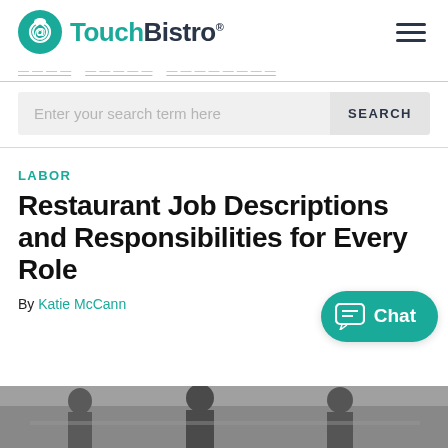TouchBistro
Enter your search term here  SEARCH
LABOR
Restaurant Job Descriptions and Responsibilities for Every Role
By Katie McCann
[Figure (photo): Photo of restaurant workers at the bottom of the page]